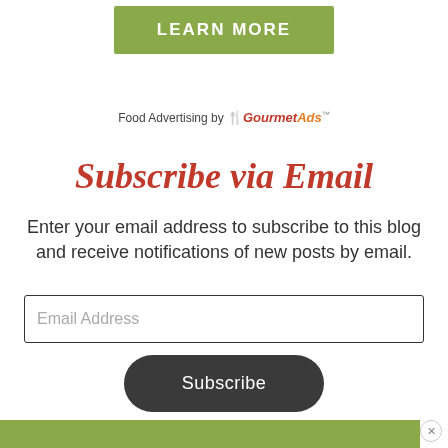[Figure (other): Green 'LEARN MORE' button]
Food Advertising by 🍴GourmetAds™
Subscribe via Email
Enter your email address to subscribe to this blog and receive notifications of new posts by email.
Email Address
Subscribe
[Figure (other): Green bar at bottom with close button]